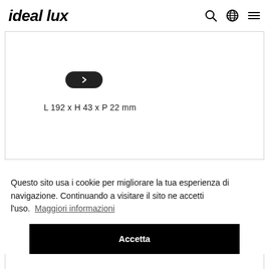ideal lux
L 192 x H 43 x P 22 mm
Questo sito usa i cookie per migliorare la tua esperienza di navigazione. Continuando a visitare il sito ne accetti l'uso. Maggiori informazioni
Accetta